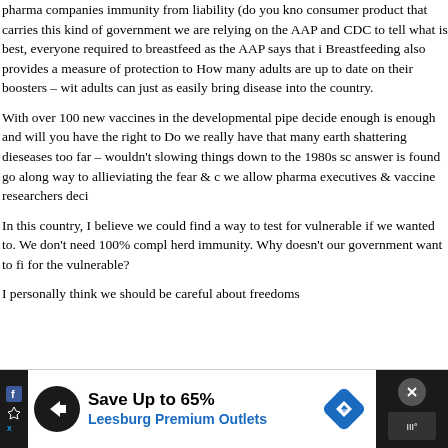pharma companies immunity from liability (do you kno consumer product that carries this kind of government we are relying on the AAP and CDC to tell what is best, everyone required to breastfeed as the AAP says that i Breastfeeding also provides a measure of protection to How many adults are up to date on their boosters – wit adults can just as easily bring disease into the country.
With over 100 new vaccines in the developmental pipe decide enough is enough and will you have the right to Do we really have that many earth shattering dieseases too far – wouldn't slowing things down to the 1980s sc answer is found go along way to allieviating the fear & c we allow pharma executives & vaccine researchers deci
In this country, I believe we could find a way to test for vulnerable if we wanted to. We don't need 100% compl herd immunity. Why doesn't our government want to fi for the vulnerable?
I personally think we should be careful about freedoms
[Figure (other): Advertisement banner for Leesburg Premium Outlets showing 'Save Up to 65%' with a circular logo, navigation arrow diamond icon, social media icons on sides, and close button]